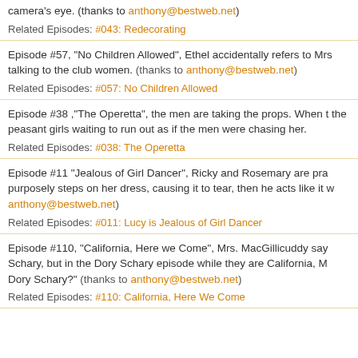camera's eye. (thanks to anthony@bestweb.net)
Related Episodes: #043: Redecorating
Episode #57, "No Children Allowed", Ethel accidentally refers to Mrs talking to the club women. (thanks to anthony@bestweb.net)
Related Episodes: #057: No Children Allowed
Episode #38 ,"The Operetta", the men are taking the props. When the peasant girls waiting to run out as if the men were chasing her.
Related Episodes: #038: The Operetta
Episode #11 "Jealous of Girl Dancer", Ricky and Rosemary are pra purposely steps on her dress, causing it to tear, then he acts like it w anthony@bestweb.net)
Related Episodes: #011: Lucy is Jealous of Girl Dancer
Episode #110, "California, Here we Come", Mrs. MacGillicuddy say Schary, but in the Dory Schary episode while they are California, M Dory Schary?" (thanks to anthony@bestweb.net)
Related Episodes: #110: California, Here We Come